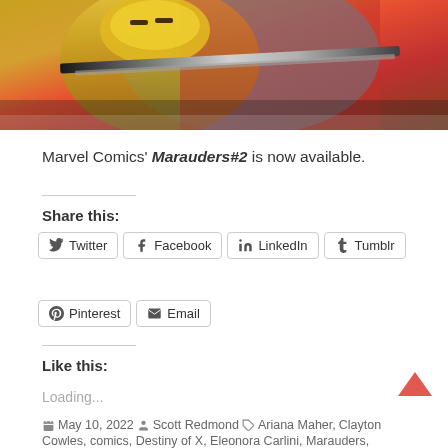[Figure (illustration): Marvel comic book cover art showing a character in gold and red armor holding a sword, with teal/blue background elements]
Marvel Comics' Marauders#2 is now available.
Share this:
Twitter Facebook LinkedIn Tumblr Pinterest Email (social share buttons)
Like this:
Loading...
May 10, 2022  Scott Redmond  Ariana Maher, Clayton Cowles, comics, Destiny of X, Eleonora Carlini, Marauders,